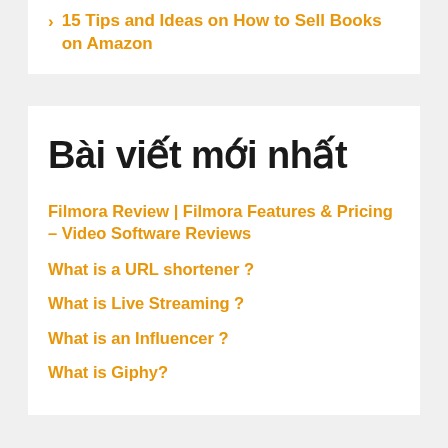15 Tips and Ideas on How to Sell Books on Amazon
Bài viết mới nhất
Filmora Review | Filmora Features & Pricing – Video Software Reviews
What is a URL shortener ?
What is Live Streaming ?
What is an Influencer ?
What is Giphy?